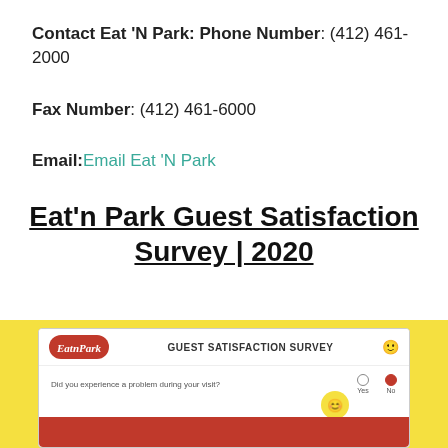Contact Eat 'N Park: Phone Number: (412) 461-2000
Fax Number: (412) 461-6000
Email: Email Eat 'N Park
Eat'n Park Guest Satisfaction Survey | 2020
[Figure (screenshot): Screenshot of the Eat'n Park Guest Satisfaction Survey webpage, showing the survey form with the EatnPark logo, 'Guest Satisfaction Survey' heading, a question asking 'Did you experience a problem during your visit?' with Yes/No radio buttons, on a yellow background.]